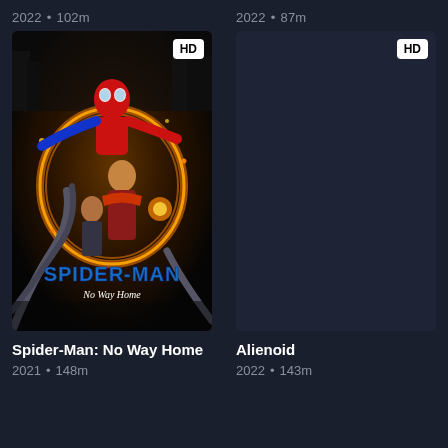2022 • 102m
2022 • 87m
[Figure (photo): Spider-Man: No Way Home movie poster featuring Spider-Man, Doctor Strange, and MJ with golden energy swirls and metallic tentacles]
Spider-Man: No Way Home
2021 • 148m
Alienoid
2022 • 143m